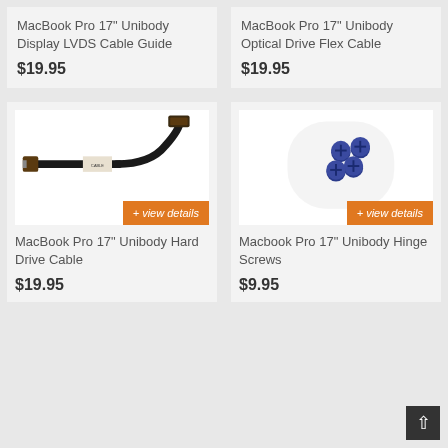MacBook Pro 17" Unibody Display LVDS Cable Guide
$19.95
MacBook Pro 17" Unibody Optical Drive Flex Cable
$19.95
[Figure (photo): MacBook Pro 17 Unibody Hard Drive Cable flex ribbon cable]
MacBook Pro 17" Unibody Hard Drive Cable
$19.95
[Figure (photo): Macbook Pro 17 Unibody Hinge Screws - set of small dark blue/black screws]
Macbook Pro 17" Unibody Hinge Screws
$9.95